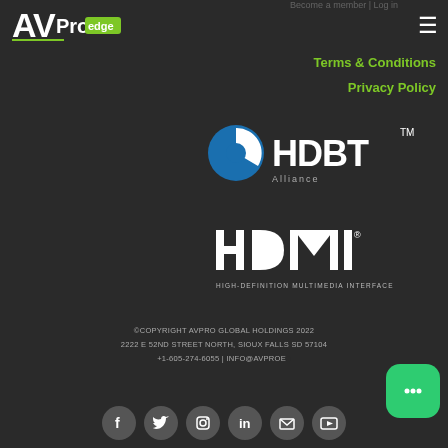[Figure (logo): AV Pro Edge logo in white and green]
Terms & Conditions
Privacy Policy
[Figure (logo): HDBaseT Alliance logo in blue and white]
[Figure (logo): HDMI High-Definition Multimedia Interface logo in white]
©COPYRIGHT AVPRO GLOBAL HOLDINGS 2022
2222 E 52ND STREET NORTH, SIOUX FALLS SD 57104
+1-605-274-6055 | INFO@AVPROE...
[Figure (other): Social media icons row: Facebook, Twitter, Instagram, LinkedIn, Email, YouTube]